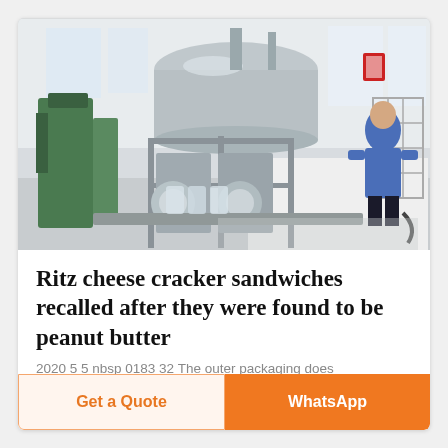[Figure (photo): Industrial factory interior showing large stainless steel processing/filling machine with a cylindrical tank on top, conveyor lines, green machinery on the left, and a worker in a blue shirt working at the right side of the machine in a bright warehouse space.]
Ritz cheese cracker sandwiches recalled after they were found to be peanut butter
2020 5 5 nbsp 0183 32 The outer packaging does
Get a Quote
WhatsApp